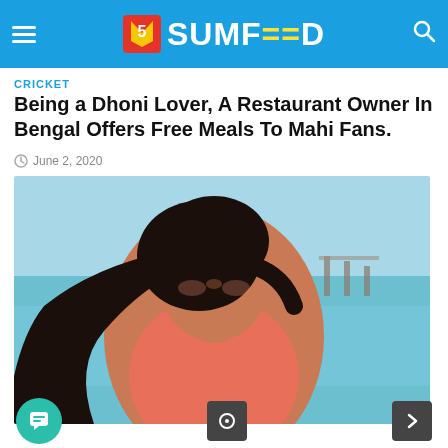SUMFEED
CRICKET
Being a Dhoni Lover, A Restaurant Owner In Bengal Offers Free Meals To Mahi Fans.
June 2, 2020
[Figure (photo): Woman with dark hair smiling at a beach, wearing a coral/salmon colored swimsuit top, with turquoise water in the background]